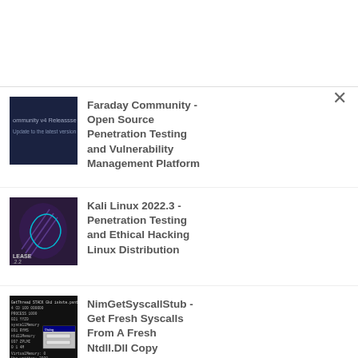[Figure (screenshot): Close (X) button in top right corner of a modal/dropdown panel]
Faraday Community - Open Source Penetration Testing and Vulnerability Management Platform
Kali Linux 2022.3 - Penetration Testing and Ethical Hacking Linux Distribution
NimGetSyscallStub - Get Fresh Syscalls From A Fresh Ntdll.Dll Copy